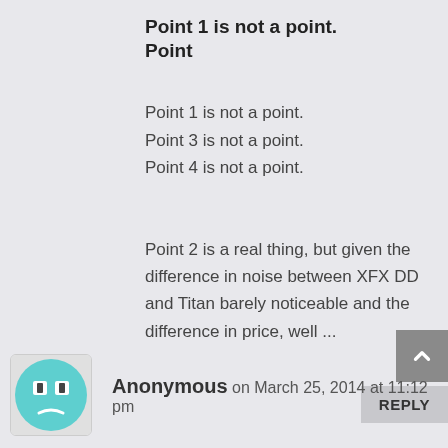Point 1 is not a point.
Point
Point 1 is not a point.
Point 3 is not a point.
Point 4 is not a point.
Point 2 is a real thing, but given the difference in noise between XFX DD and Titan barely noticeable and the difference in price, well ...
REPLY
Anonymous on March 25, 2014 at 11:12 pm